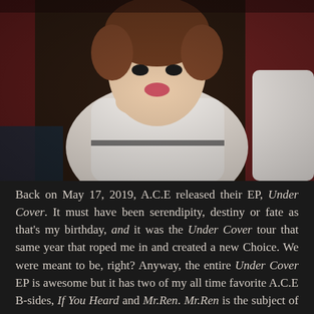[Figure (photo): A young Korean male idol (K-pop artist from A.C.E) sitting at a table, wearing a white outfit with black trim, making a heart gesture with his hand near his face, with a pouty/cute expression. Background shows a dark red curtain and another person in white to the right.]
Back on May 17, 2019, A.C.E released their EP, Under Cover. It must have been serendipity, destiny or fate as that's my birthday, and it was the Under Cover tour that same year that roped me in and created a new Choice. We were meant to be, right? Anyway, the entire Under Cover EP is awesome but it has two of my all time favorite A.C.E B-sides, If You Heard and Mr.Ren. Mr.Ren is the subject of my Hyucis Gen